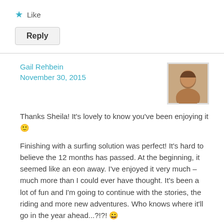★ Like
Reply
Gail Rehbein
November 30, 2015
[Figure (photo): Profile photo of Gail Rehbein, a woman with light brown hair]
Thanks Sheila! It's lovely to know you've been enjoying it 🙂
Finishing with a surfing solution was perfect! It's hard to believe the 12 months has passed. At the beginning, it seemed like an eon away. I've enjoyed it very much – much more than I could ever have thought. It's been a lot of fun and I'm going to continue with the stories, the riding and more new adventures. Who knows where it'll go in the year ahead...?!?! 😀